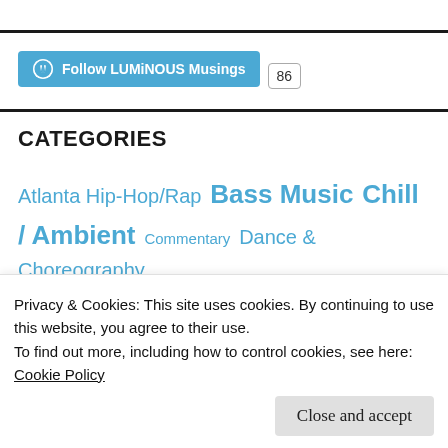[Figure (other): WordPress Follow button for LUMiNOUS Musings with follower count badge showing 86]
CATEGORIES
Atlanta Hip-Hop/Rap  Bass Music  Chill / Ambient  Commentary  Dance & Choreography
Privacy & Cookies: This site uses cookies. By continuing to use this website, you agree to their use.
To find out more, including how to control cookies, see here:
Cookie Policy
Close and accept
House Music  Mixes  Music  New